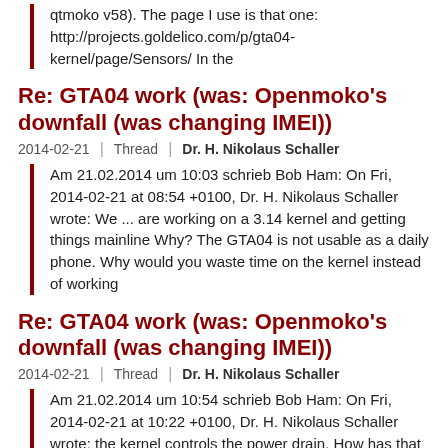qtmoko v58). The page I use is that one: http://projects.goldelico.com/p/gta04-kernel/page/Sensors/ In the
Re: GTA04 work (was: Openmoko's downfall (was changing IMEI))
2014-02-21 | Thread | Dr. H. Nikolaus Schaller
Am 21.02.2014 um 10:03 schrieb Bob Ham: On Fri, 2014-02-21 at 08:54 +0100, Dr. H. Nikolaus Schaller wrote: We ... are working on a 3.14 kernel and getting things mainline Why? The GTA04 is not usable as a daily phone. Why would you waste time on the kernel instead of working
Re: GTA04 work (was: Openmoko's downfall (was changing IMEI))
2014-02-21 | Thread | Dr. H. Nikolaus Schaller
Am 21.02.2014 um 10:54 schrieb Bob Ham: On Fri, 2014-02-21 at 10:22 +0100, Dr. H. Nikolaus Schaller wrote: the kernel controls the power drain. How has that been determined? Please find the answer and tell us about the results. ___ Openmoko
Re: Openmoko's downfall (was changing IMEI)